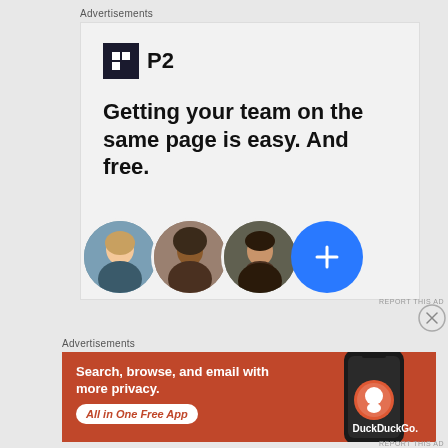Advertisements
[Figure (infographic): P2 advertisement with logo, bold headline 'Getting your team on the same page is easy. And free.' and three circular avatar photos plus a blue plus button]
Advertisements
[Figure (infographic): DuckDuckGo advertisement on orange background with text 'Search, browse, and email with more privacy. All in One Free App' and phone image with DuckDuckGo logo]